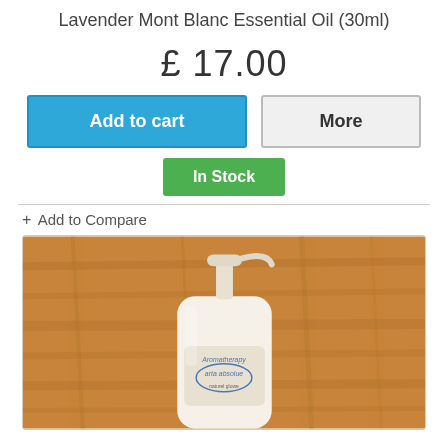Lavender Mont Blanc Essential Oil (30ml)
£ 17.00
[Figure (screenshot): Add to cart button (blue) and More button (grey)]
[Figure (screenshot): In Stock green button]
+ Add to Compare
[Figure (photo): Photo of a white pump-bottle labeled Aromatherapy carta absolue on a wooden surface]